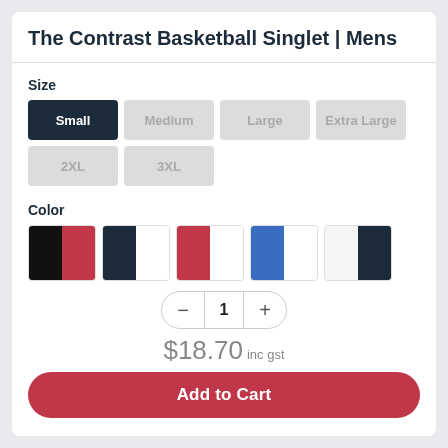The Contrast Basketball Singlet | Mens
Size
Small | Medium | Large | Extra Large | 2XL | 3XL
Color
[Figure (other): Five color swatch pairs: black+red, navy+white, red+white, blue+white, white+navy]
1 (quantity)
$18.70 inc gst
Add to Cart